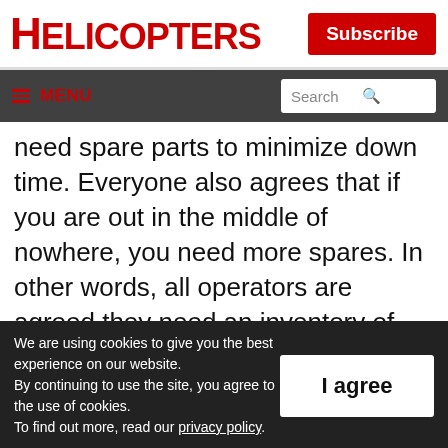HELICOPTERS
Subscribe
☰ MENU  Search
need spare parts to minimize down time. Everyone also agrees that if you are out in the middle of nowhere, you need more spares. In other words, all operators are agreed they need an inventory of spares.
We are using cookies to give you the best experience on our website. By continuing to use the site, you agree to the use of cookies. To find out more, read our privacy policy.
I agree